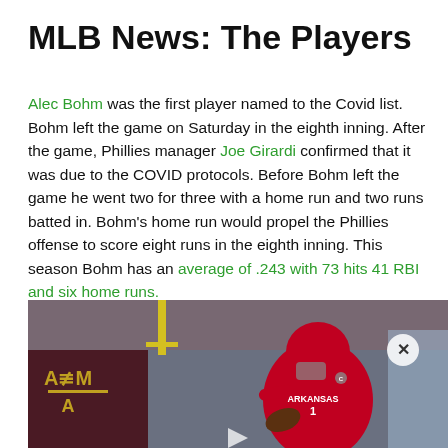MLB News: The Players
Alec Bohm was the first player named to the Covid list. Bohm left the game on Saturday in the eighth inning. After the game, Phillies manager Joe Girardi confirmed that it was due to the COVID protocols. Before Bohm left the game he went two for three with a home run and two runs batted in. Bohm's home run would propel the Phillies offense to score eight runs in the eighth inning. This season Bohm has an average of .243 with 73 hits 41 RBI and six home runs.
[Figure (photo): A football player in an Arkansas Razorbacks red jersey number 1 dropping back to pass, with a Texas A&M logo banner visible in the background inside a stadium.]